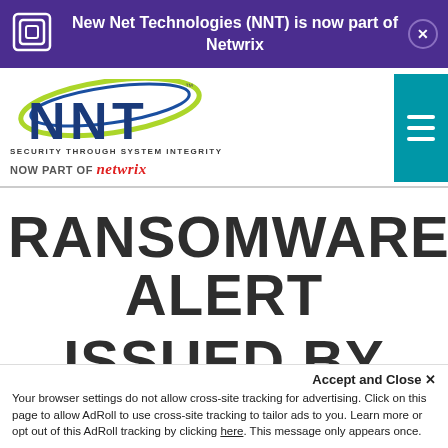New Net Technologies (NNT) is now part of Netwrix
[Figure (logo): NNT logo with oval swoosh, text NNT in blue/dark, tagline SECURITY THROUGH SYSTEM INTEGRITY, NOW PART OF netwrix]
RANSOMWARE ALERT ISSUED BY UNITED
Accept and Close ✕
Your browser settings do not allow cross-site tracking for advertising. Click on this page to allow AdRoll to use cross-site tracking to tailor ads to you. Learn more or opt out of this AdRoll tracking by clicking here. This message only appears once.